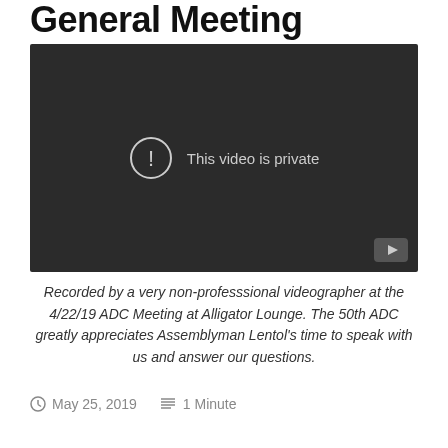General Meeting
[Figure (screenshot): Embedded video player showing 'This video is private' message with a warning icon and YouTube play button in the bottom right corner. Dark background.]
Recorded by a very non-professsional videographer at the 4/22/19 ADC Meeting at Alligator Lounge. The 50th ADC greatly appreciates Assemblyman Lentol's time to speak with us and answer our questions.
May 25, 2019   1 Minute